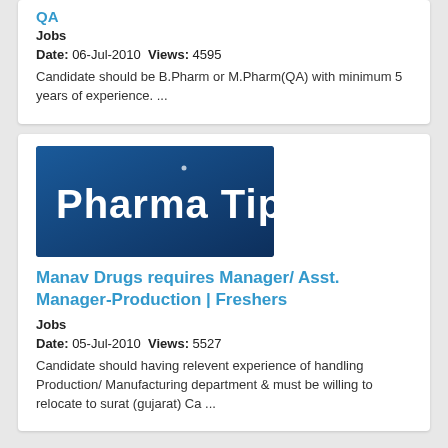QA
Jobs
Date: 06-Jul-2010  Views: 4595
Candidate should be B.Pharm or M.Pharm(QA) with minimum 5 years of experience. ...
[Figure (logo): Pharma Tips logo — dark blue gradient background with white handwritten-style text reading 'Pharma Tips']
Manav Drugs requires Manager/ Asst. Manager-Production | Freshers
Jobs
Date: 05-Jul-2010  Views: 5527
Candidate should having relevent experience of handling Production/ Manufacturing department & must be willing to relocate to surat (gujarat) Ca ...